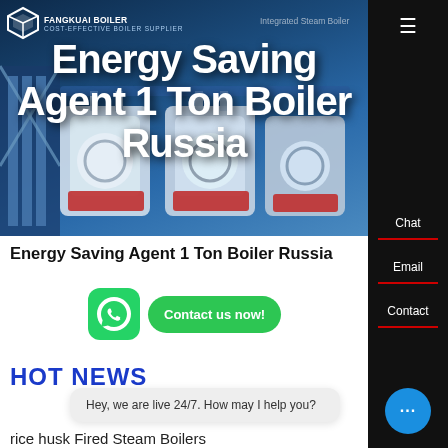[Figure (screenshot): Hero banner with industrial boiler background image, logo, and large white text overlay reading 'Energy Saving Agent 1 Ton Boiler Russia'. Dark right sidebar with Chat, Email, Contact labels. WhatsApp icon and Contact us now button. HOT NEWS section header. Chat popup saying 'Hey, we are live 24/7. How may I help you?' Bottom text: 'rice husk Fired Steam Boilers']
Energy Saving Agent 1 Ton Boiler Russia
HOT NEWS
Hey, we are live 24/7. How may I help you?
rice husk Fired Steam Boilers